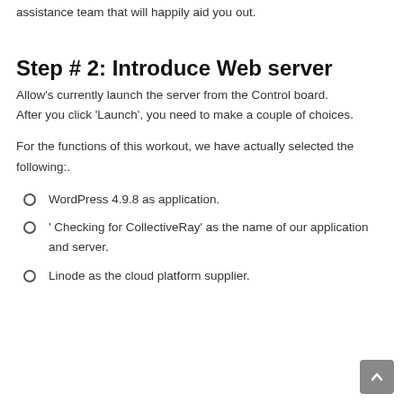assistance team that will happily aid you out.
Step # 2: Introduce Web server
Allow's currently launch the server from the Control board. After you click 'Launch', you need to make a couple of choices.
For the functions of this workout, we have actually selected the following:.
WordPress 4.9.8 as application.
' Checking for CollectiveRay' as the name of our application and server.
Linode as the cloud platform supplier.